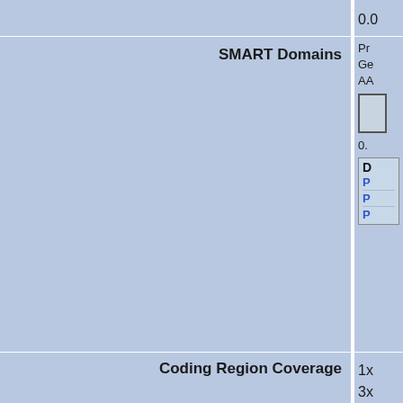| Field | Value |
| --- | --- |
|  | 0.0 |
| SMART Domains | Pr...
Ge...
AA...
[diagram]
0.
D
P
P
P |
| Coding Region Coverage | 1x
3x
10
20 |
| Validation Efficiency | 97 |
| MSI Phenotype | El... |